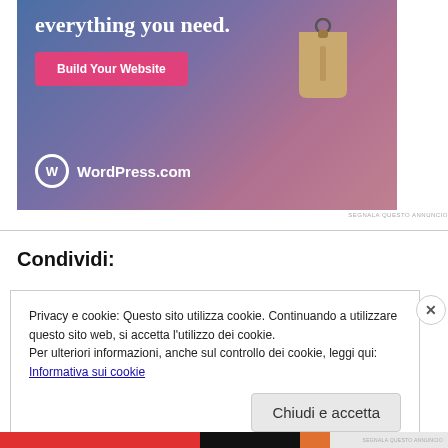[Figure (advertisement): WordPress.com advertisement banner with blue-purple-pink gradient background, text 'everything you need.', a pink 'Build Your Website' button, a tan price tag graphic, and WordPress.com logo at bottom left.]
SEGNALA QUESTO ANNUNCIO
Condividi:
Privacy e cookie: Questo sito utilizza cookie. Continuando a utilizzare questo sito web, si accetta l'utilizzo dei cookie.
Per ulteriori informazioni, anche sul controllo dei cookie, leggi qui:
Informativa sui cookie
Chiudi e accetta